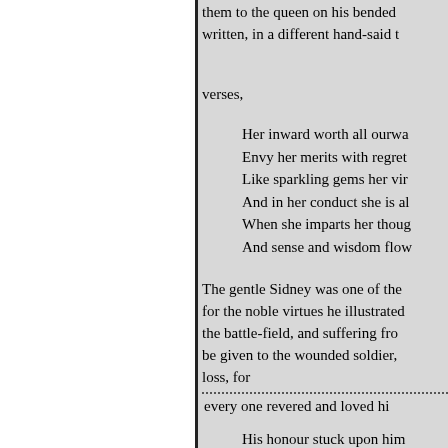them to the queen on his bended written, in a different hand-said t
verses,
Her inward worth all ourwa
Envy her merits with regret
Like sparkling gems her vir
And in her conduct she is al
When she imparts her thoug
And sense and wisdom flow
The gentle Sidney was one of the for the noble virtues he illustrated the battle-field, and suffering fro be given to the wounded soldier, loss, for
every one revered and loved hi
His honour stuck upon him
In the gray vault of heave
Did all the chivalry of Eng
To do brave acts!